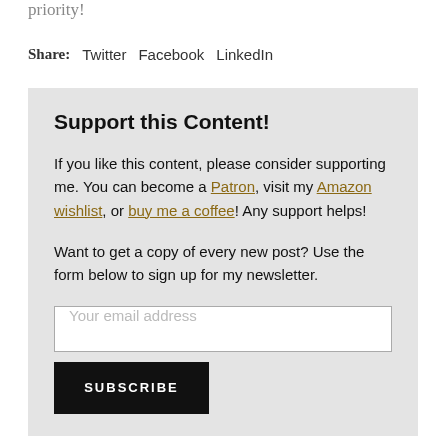priority!
Share: Twitter  Facebook  LinkedIn
Support this Content!
If you like this content, please consider supporting me. You can become a Patron, visit my Amazon wishlist, or buy me a coffee! Any support helps!
Want to get a copy of every new post? Use the form below to sign up for my newsletter.
Your email address
SUBSCRIBE